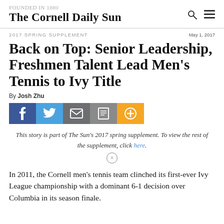The Cornell Daily Sun
2017 SPRING SUPPLEMENT
May 1, 2017
Back on Top: Senior Leadership, Freshmen Talent Lead Men's Tennis to Ivy Title
By Josh Zhu
[Figure (infographic): Social media sharing buttons: Facebook (blue), Twitter (light blue), Email (grey), Print (grey), Add/More (orange)]
This story is part of The Sun's 2017 spring supplement. To view the rest of the supplement, click here.
In 2011, the Cornell men's tennis team clinched its first-ever Ivy League championship with a dominant 6-1 decision over Columbia in its season finale.